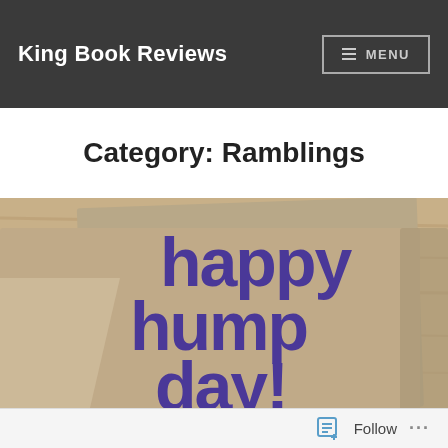King Book Reviews
Category: Ramblings
[Figure (photo): Photo of kraft paper notebooks/cards with 'happy hump day!' printed in large purple bold text, placed on a wooden surface.]
Follow